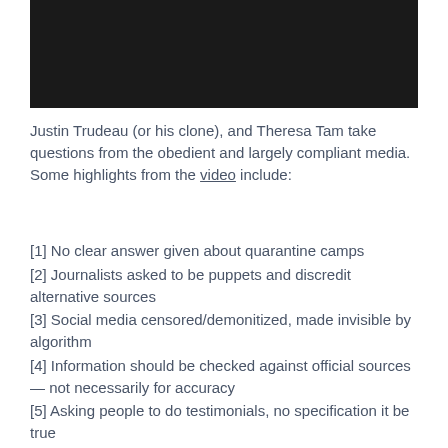[Figure (photo): Black video thumbnail/player area]
Justin Trudeau (or his clone), and Theresa Tam take questions from the obedient and largely compliant media. Some highlights from the video include:
[1] No clear answer given about quarantine camps
[2] Journalists asked to be puppets and discredit alternative sources
[3] Social media censored/demonitized, made invisible by algorithm
[4] Information should be checked against official sources — not necessarily for accuracy
[5] Asking people to do testimonials, no specification it be true